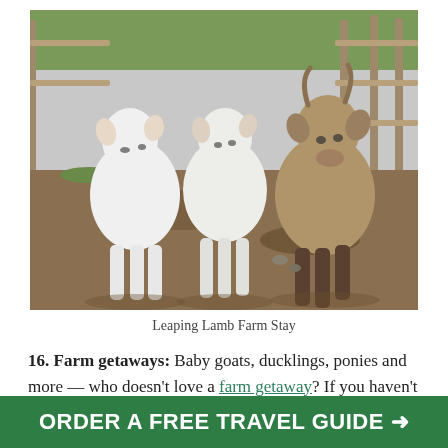[Figure (photo): Three young lambs/goats standing on dirt ground in a farm pen. Two white lambs on the left and one brown/grey goat on the right. Wooden fence and green grass visible in the background.]
Leaping Lamb Farm Stay
16. Farm getaways: Baby goats, ducklings, ponies and more — who doesn't love a farm getaway? If you haven't taken one, Oregon has several
ORDER A FREE TRAVEL GUIDE →